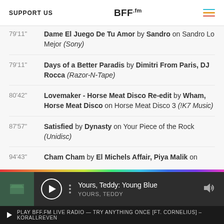SUPPORT US | BFF.fm
79'11" Dame El Juego De Tu Amor by Sandro on Sandro Lo Mejor (Sony)
79'11" Days of a Better Paradis by Dimitri From Paris, DJ Rocca (Razor-N-Tape)
80'42" Lovemaker - Horse Meat Disco Re-edit by Wham, Horse Meat Disco on Horse Meat Disco 3 (!K7 Music)
87'57" Satisfied by Dynasty on Your Piece of the Rock (Unidisc)
94'43" Cham Cham by El Michels Affair, Piya Malik on
Yours, Teddy: Young Blue | YOURS, TEDDY
PLAY BFF.FM LIVE RADIO — TRY ANYTHING ONCE [FT. CORNELIUS] – KORALLREVEN